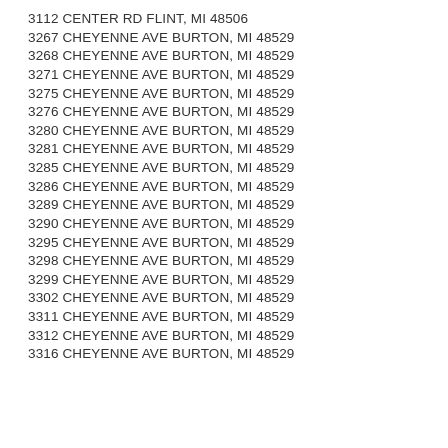3112 CENTER RD FLINT, MI 48506
3267 CHEYENNE AVE BURTON, MI 48529
3268 CHEYENNE AVE BURTON, MI 48529
3271 CHEYENNE AVE BURTON, MI 48529
3275 CHEYENNE AVE BURTON, MI 48529
3276 CHEYENNE AVE BURTON, MI 48529
3280 CHEYENNE AVE BURTON, MI 48529
3281 CHEYENNE AVE BURTON, MI 48529
3285 CHEYENNE AVE BURTON, MI 48529
3286 CHEYENNE AVE BURTON, MI 48529
3289 CHEYENNE AVE BURTON, MI 48529
3290 CHEYENNE AVE BURTON, MI 48529
3295 CHEYENNE AVE BURTON, MI 48529
3298 CHEYENNE AVE BURTON, MI 48529
3299 CHEYENNE AVE BURTON, MI 48529
3302 CHEYENNE AVE BURTON, MI 48529
3311 CHEYENNE AVE BURTON, MI 48529
3312 CHEYENNE AVE BURTON, MI 48529
3316 CHEYENNE AVE BURTON, MI 48529